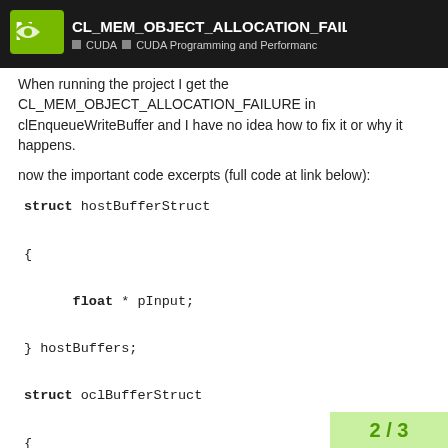CL_MEM_OBJECT_ALLOCATION_FAILURE... | CUDA | CUDA Programming and Performance
When running the project I get the CL_MEM_OBJECT_ALLOCATION_FAILURE in clEnqueueWriteBuffer and I have no idea how to fix it or why it happens.
now the important code excerpts (full code at link below):
struct hostBufferStruct
{
    float * pInput;
} hostBuffers;

struct oclBufferStruct
{
2 / 3